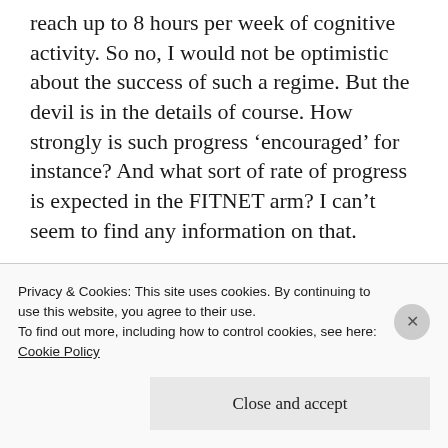reach up to 8 hours per week of cognitive activity. So no, I would not be optimistic about the success of such a regime. But the devil is in the details of course. How strongly is such progress ‘encouraged’ for instance? And what sort of rate of progress is expected in the FITNET arm? I can’t seem to find any information on that.
Like
Privacy & Cookies: This site uses cookies. By continuing to use this website, you agree to their use.
To find out more, including how to control cookies, see here:
Cookie Policy
Close and accept